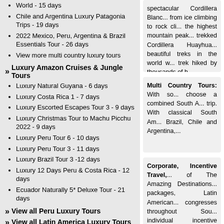World - 15 days
Chile and Argentina Luxury Patagonia Trips - 19 days
2022 Mexico, Peru, Argentina & Brazil Essentials Tour - 26 days
View more multi country luxury tours
» Luxury Amazon Cruises & Jungle Tours
Luxury Natural Guyana - 6 days
Luxury Costa Rica 1 - 7 days
Luxury Escorted Escapes Tour 3 - 9 days
Luxury Christmas Tour to Machu Picchu 2022 - 9 days
Luxury Peru Tour 6 - 10 days
Luxury Peru Tour 3 - 11 days
Luxury Brazil Tour 3 -12 days
Luxury 12 Days Peru & Costa Rica - 12 days
Ecuador Naturally 5* Deluxe Tour - 21 days
» View all Peru Luxury Tours
» View all Latin America Luxury Tours
spectacular Cordillera Blanc... from ice climbing to rock cli... the highest mountain peak... trekked Cordillera Huayhua... beautiful treks in the world w... trek hiked by thousands of h...
Multi Country Tours: With so... choose a combined South A... trip. With classical South Am... Brazil, Chile and Argentina...
Corporate, Incentive Travel,... of The Amazing Destinations... packages, Latin American... congresses throughout Sou... individual incentive travel... organizations, we cater for b... consultancies and major bra...